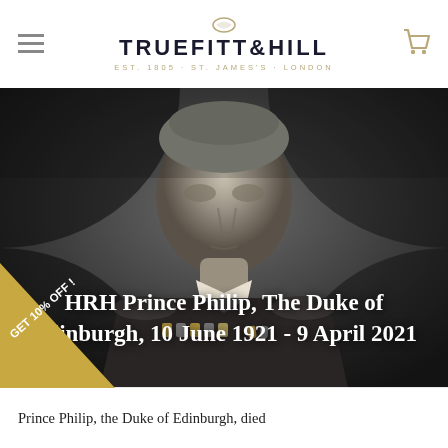TRUEFITT & HILL EST. 1805 · ST. JAMES'S · LONDON
[Figure (photo): Black and white portrait photograph of HRH Prince Philip, The Duke of Edinburgh, in military dress uniform with medals and epaulettes, against a dark background. White overlay text reads: HRH Prince Philip, The Duke of Edinburgh, 10 June 1921 - 9 April 2021]
Prince Philip, the Duke of Edinburgh, died